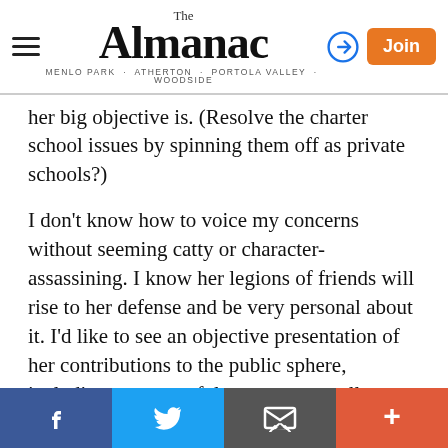The Almanac — Menlo Park · Atherton · Portola Valley · Woodside
her big objective is. (Resolve the charter school issues by spinning them off as private schools?)
I don't know how to voice my concerns without seeming catty or character-assassining. I know her legions of friends will rise to her defense and be very personal about it. I'd like to see an objective presentation of her contributions to the public sphere, including unsuccessful attempts as well as successful ones, before the election. She has a reputation as a community volunteer, yet I don't know of her successes or of her ability to work with others towards consensus. We don't need a fighter, we need a cooperator.
Facebook | Twitter | Email | More